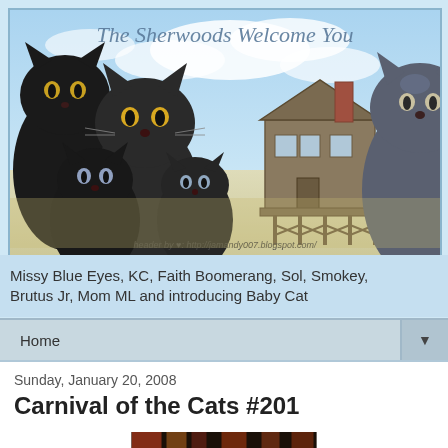[Figure (photo): Website header banner showing multiple dark/black cats posed with an old beach house on stilts in the background, sky with clouds. Text reads 'The Sherwoods Welcome You'. Credit line: 'header by [heart icon]: http://jamandy007.blogspot.com/']
Missy Blue Eyes, KC, Faith Boomerang, Sol, Smokey, Brutus Jr, Mom ML and introducing Baby Cat
Home
Sunday, January 20, 2008
Carnival of the Cats #201
[Figure (photo): Partial thumbnail image at bottom, dark tones, appears to be a nighttime photo]